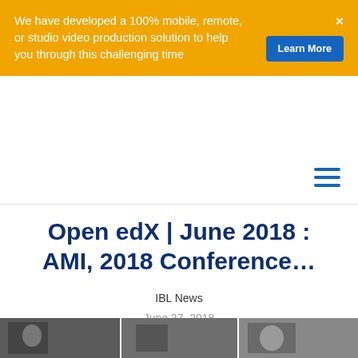We have developed a 100% mobile, remote, or studio video production solution to help you through this challenging time
Learn More
Open edX | June 2018 : AMI, 2018 Conference…
IBL News
June 27, 2018
[Figure (photo): Thumbnail strip of conference photos at bottom of page]